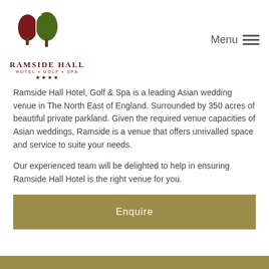[Figure (logo): Ramside Hall Hotel Golf Spa logo with tree illustration, hotel name, tagline HOTEL GOLF SPA, and four stars]
Ramside Hall Hotel, Golf & Spa is a leading Asian wedding venue in The North East of England. Surrounded by 350 acres of beautiful private parkland. Given the required venue capacities of Asian weddings, Ramside is a venue that offers unrivalled space and service to suite your needs.
Our experienced team will be delighted to help in ensuring Ramside Hall Hotel is the right venue for you.
Enquire